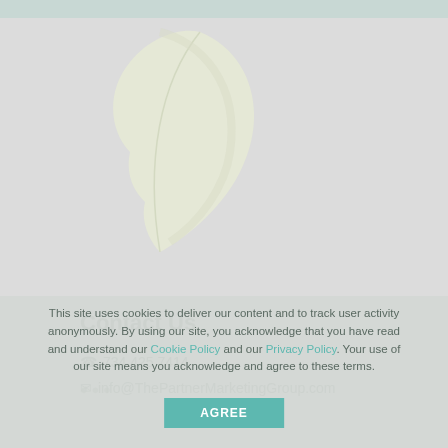[Figure (logo): Leaf/feather shaped logo mark in light cream/yellow-green color, partially visible, swooping curved shape]
Contact Us
734.425.7414
info@ThePartnerMarketingGroup.com
This site uses cookies to deliver our content and to track user activity anonymously. By using our site, you acknowledge that you have read and understand our Cookie Policy and our Privacy Policy. Your use of our site means you acknowledge and agree to these terms.
AGREE